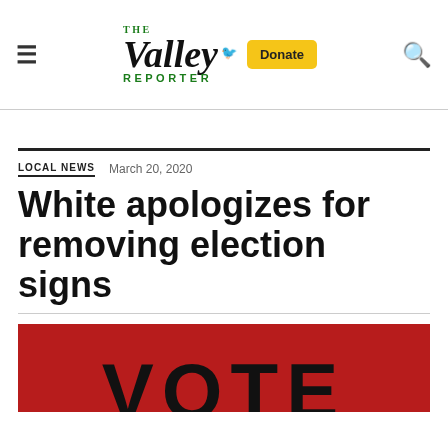The Valley Reporter — Donate
LOCAL NEWS  March 20, 2020
White apologizes for removing election signs
[Figure (photo): Red background with large black VOTE text partially visible at bottom]